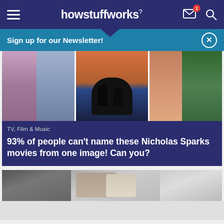howstuffworks
Sign up for our Newsletter!
[Figure (photo): Three movie scene images side by side: couple arguing/embracing, silhouette couple in boat, smiling couple close-up]
TV, Film & Music
93% of people can't name these Nicholas Sparks movies from one image! Can you?
[Figure (photo): Close-up photo of people's faces, man and blonde woman]